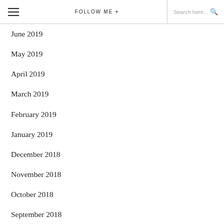≡  FOLLOW ME +  Search here...
June 2019
May 2019
April 2019
March 2019
February 2019
January 2019
December 2018
November 2018
October 2018
September 2018
August 2018
July 2018